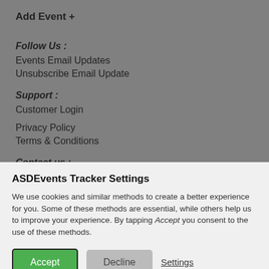Add Event +
Follow Us :
Events Email Updates
Unsubscribe Email Update
Support :
Customer Login
Privacy Policy
Terms & Conditions
Contact us :
Phone (EU): +31 20 486 1286
Phone (US): +1 646 513 4192
Email:
ASDEvents Tracker Settings
We use cookies and similar methods to create a better experience for you. Some of these methods are essential, while others help us to improve your experience. By tapping Accept you consent to the use of these methods.
Accept
Decline
Settings